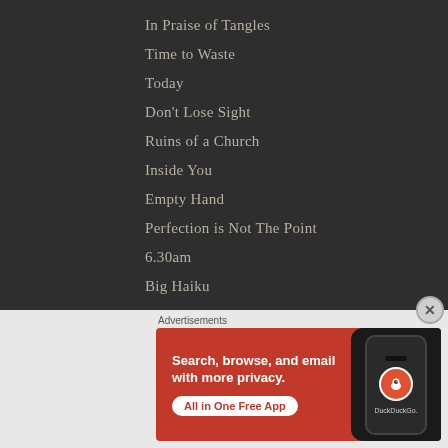In Praise of Tangles
Time to Waste
Today
Don't Lose Sight
Ruins of a Church
Inside You
Empty Hand
Perfection is Not The Point
6.30am
Big Haiku
Advertisements
[Figure (other): DuckDuckGo advertisement banner with orange background showing a smartphone mockup. Text reads: Search, browse, and email with more privacy. All in One Free App. DuckDuckGo logo visible on phone screen.]